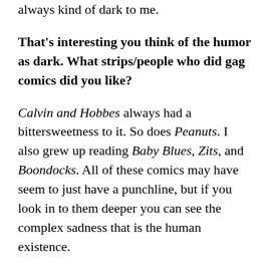always kind of dark to me.
That's interesting you think of the humor as dark. What strips/people who did gag comics did you like?
Calvin and Hobbes always had a bittersweetness to it. So does Peanuts. I also grew up reading Baby Blues, Zits, and Boondocks. All of these comics may have seem to just have a punchline, but if you look in to them deeper you can see the complex sadness that is the human existence.
That's beautifully put. I guess another way to put it is that you like comics that no matter their purpose have truth at the heart, which I think is what all your comics strive for.
Yeah!
Having that freedom to write about whatever you